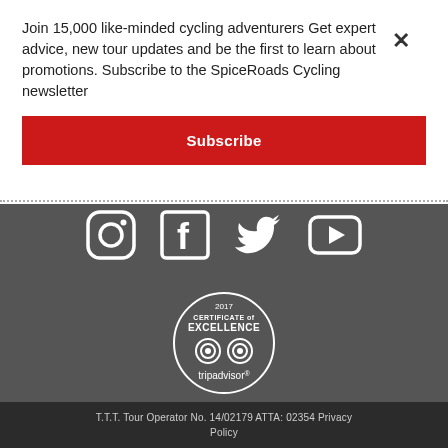Join 15,000 like-minded cycling adventurers Get expert advice, new tour updates and be the first to learn about promotions. Subscribe to the SpiceRoads Cycling newsletter
Subscribe
[Figure (illustration): Social media icons: Instagram, Facebook, Twitter, YouTube in white on dark grey background]
[Figure (logo): TripAdvisor 2017 Certificate of Excellence badge with owl logo]
T.T.T. Tour Operator No. 14/02179 ATTA: 02354 Privacy Policy